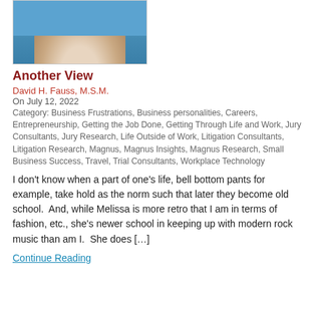[Figure (photo): Partial headshot of a man wearing a blue shirt and gold necklace]
Another View
David H. Fauss, M.S.M.
On July 12, 2022
Category: Business Frustrations, Business personalities, Careers, Entrepreneurship, Getting the Job Done, Getting Through Life and Work, Jury Consultants, Jury Research, Life Outside of Work, Litigation Consultants, Litigation Research, Magnus, Magnus Insights, Magnus Research, Small Business Success, Travel, Trial Consultants, Workplace Technology
I don't know when a part of one's life, bell bottom pants for example, take hold as the norm such that later they become old school.  And, while Melissa is more retro that I am in terms of fashion, etc., she's newer school in keeping up with modern rock music than am I.  She does […]
Continue Reading